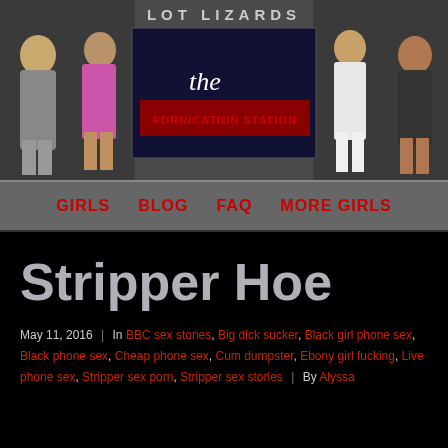[Figure (photo): Website header banner with text 'LOT LIZARDS' and 'the FORNICATION STATION', featuring silhouettes of women on left and right against a collage background]
GIRLS   BLOG   FAQ   MORE GIRLS
Stripper Hoe
May 11, 2016 | In BBC sex stories, Big dick sucker, Black girl phone sex, Black phone sex, Cheap phone sex, Cum dumpster, Ebony girl fucking, Live phone sex, Stripper sex porn, Stripper sex stories | By Alyssa